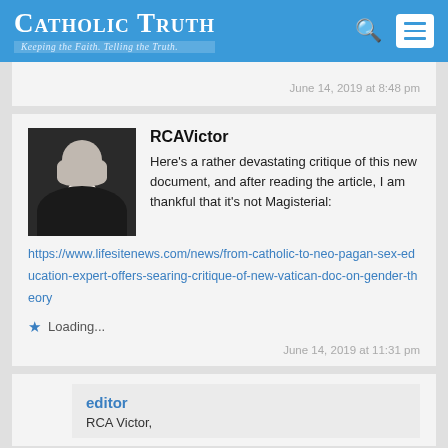Catholic Truth – Keeping the Faith. Telling the Truth.
June 14, 2019 at 8:48 pm
RCAVictor
Here's a rather devastating critique of this new document, and after reading the article, I am thankful that it's not Magisterial:
https://www.lifesitenews.com/news/from-catholic-to-neo-pagan-sex-education-expert-offers-searing-critique-of-new-vatican-doc-on-gender-theory
Loading...
June 14, 2019 at 11:31 pm
editor
RCA Victor,